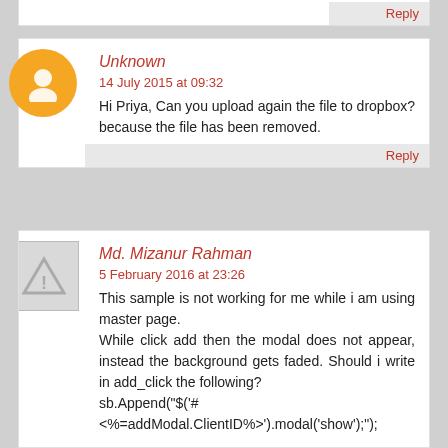Reply
Unknown
14 July 2015 at 09:32
Hi Priya, Can you upload again the file to dropbox? because the file has been removed.
Reply
Md. Mizanur Rahman
5 February 2016 at 23:26
This sample is not working for me while i am using master page.
While click add then the modal does not appear, instead the background gets faded. Should i write in add_click the following?
sb.Append("$('#<%=addModal.ClientID%>').modal('show');");